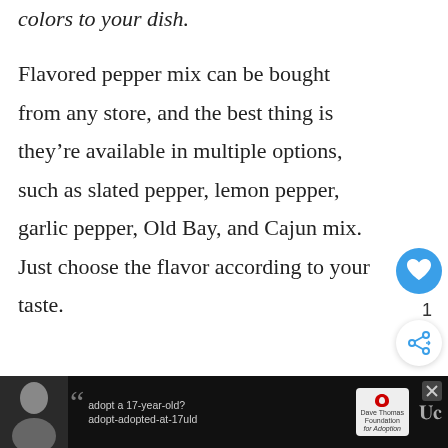colors to your dish.
Flavored pepper mix can be bought from any store, and the best thing is they're available in multiple options, such as slated pepper, lemon pepper, garlic pepper, Old Bay, and Cajun mix. Just choose the flavor according to your taste.
[Figure (infographic): Heart/like button (blue circle with white heart icon) with count of 1, and a share button below it]
[Figure (infographic): What's Next panel with thumbnail of green vegetables and text 'Top 12 Substitutes f...']
[Figure (infographic): Advertisement bar at bottom with photo of woman, quotation mark, text 'adopt a 17-year-old?' and 'adopt-adopted-at-17uld', Dave Thomas Foundation for Adoption logo, and W logo]